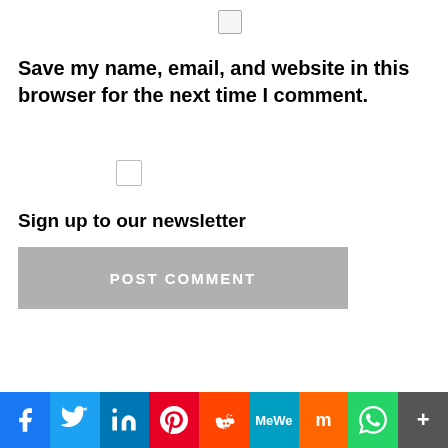[Figure (other): Checkbox (top, centered)]
Save my name, email, and website in this browser for the next time I comment.
[Figure (other): Checkbox (middle)]
Sign up to our newsletter
[Figure (other): POST COMMENT button (gray)]
[Figure (other): Social sharing bar: Facebook, Twitter, LinkedIn, Pinterest, Reddit, MeWe, Mix, WhatsApp, More]